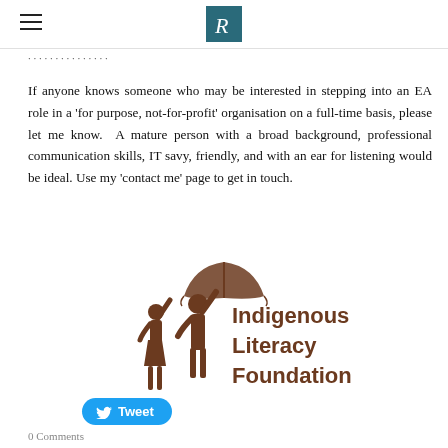R (logo)
If anyone knows someone who may be interested in stepping into an EA role in a 'for purpose, not-for-profit' organisation on a full-time basis, please let me know.  A mature person with a broad background, professional communication skills, IT savy, friendly, and with an ear for listening would be ideal. Use my 'contact me' page to get in touch.
[Figure (logo): Indigenous Literacy Foundation logo featuring two children silhouettes with an open book above them and the text 'Indigenous Literacy Foundation']
Tweet
0 Comments